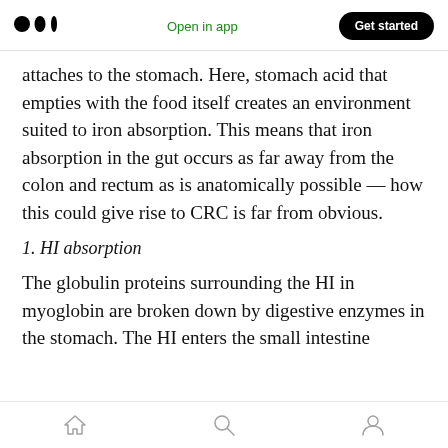Open in app | Get started
attaches to the stomach. Here, stomach acid that empties with the food itself creates an environment suited to iron absorption. This means that iron absorption in the gut occurs as far away from the colon and rectum as is anatomically possible — how this could give rise to CRC is far from obvious.
1. HI absorption
The globulin proteins surrounding the HI in myoglobin are broken down by digestive enzymes in the stomach. The HI enters the small intestine
Home | Search | Profile